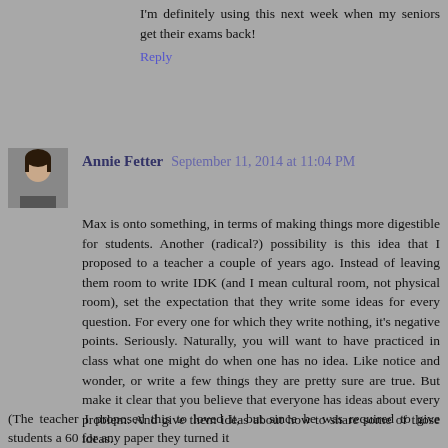I'm definitely using this next week when my seniors get their exams back!
Reply
Annie Fetter  September 11, 2014 at 11:04 PM
Max is onto something, in terms of making things more digestible for students. Another (radical?) possibility is this idea that I proposed to a teacher a couple of years ago. Instead of leaving them room to write IDK (and I mean cultural room, not physical room), set the expectation that they write some ideas for every question. For every one for which they write nothing, it's negative points. Seriously. Naturally, you will want to have practiced in class what one might do when one has no idea. Like notice and wonder, or write a few things they are pretty sure are true. But make it clear that you believe that everyone has ideas about every problem. And give them ideas about how to share some of those ideas.
(The teacher I proposed this to loved it, but since he was required to give students a 60 for any paper they turned it